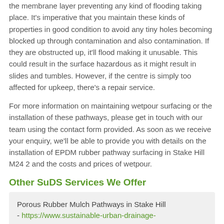the membrane layer preventing any kind of flooding taking place. It's imperative that you maintain these kinds of properties in good condition to avoid any tiny holes becoming blocked up through contamination and also contamination. If they are obstructed up, it'll flood making it unusable. This could result in the surface hazardous as it might result in slides and tumbles. However, if the centre is simply too affected for upkeep, there's a repair service.
For more information on maintaining wetpour surfacing or the installation of these pathways, please get in touch with our team using the contact form provided. As soon as we receive your enquiry, we'll be able to provide you with details on the installation of EPDM rubber pathway surfacing in Stake Hill M24 2 and the costs and prices of wetpour.
Other SuDS Services We Offer
Porous Rubber Mulch Pathways in Stake Hill - https://www.sustainable-urban-drainage-systems.co.uk/pathway/rubber-mulch/greater-manchester/stake-hill/